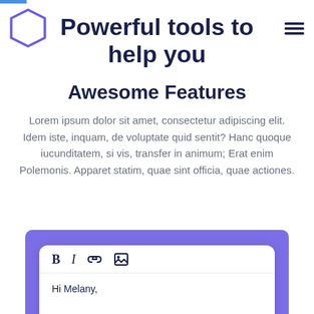Powerful tools to help you
[Figure (logo): Purple hexagon outline logo icon]
[Figure (infographic): Hamburger menu icon (three horizontal lines)]
Awesome Features
Lorem ipsum dolor sit amet, consectetur adipiscing elit. Idem iste, inquam, de voluptate quid sentit? Hanc quoque iucunditatem, si vis, transfer in animum; Erat enim Polemonis. Apparet statim, quae sint officia, quae actiones.
[Figure (screenshot): A text editor UI with toolbar icons (Bold, Italic, Link, Image) and body text 'Hi Melany,' on a purple background card]